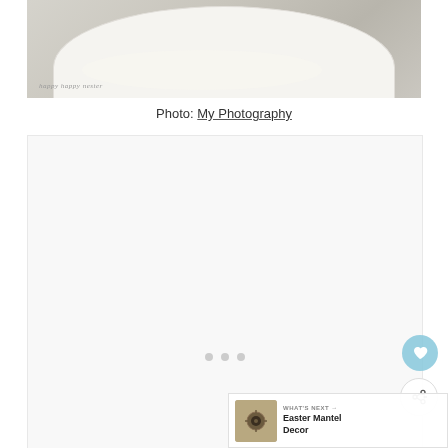[Figure (photo): Top portion of a food photo showing a white plate with rice/food on a marble/grey textured surface, with watermark 'happy happy nester' at bottom left]
Photo: My Photography
[Figure (photo): Large white/light grey placeholder or loading image area with three small dots at center-bottom, heart button and share button overlaid on right side]
WHAT'S NEXT → Easter Mantel Decor